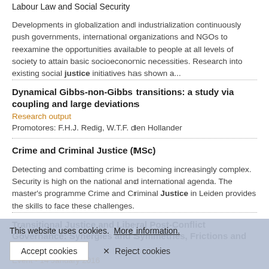Labour Law and Social Security
Developments in globalization and industrialization continuously push governments, international organizations and NGOs to reexamine the opportunities available to people at all levels of society to attain basic socioeconomic necessities. Research into existing social justice initiatives has shown a...
Dynamical Gibbs-non-Gibbs transitions: a study via coupling and large deviations
Research output
Promotores: F.H.J. Redig, W.T.F. den Hollander
Crime and Criminal Justice (MSc)
Detecting and combatting crime is becoming increasingly complex. Security is high on the national and international agenda. The master's programme Crime and Criminal Justice in Leiden provides the skills to face these challenges.
Transitional Justice and Liberal Post-Conflict Governance: Synergies and Symmetries, Frictions and Contradictions
Event - 14 January 2016
PhD Defence
This website uses cookies.  More information.
Accept cookies   ✕ Reject cookies